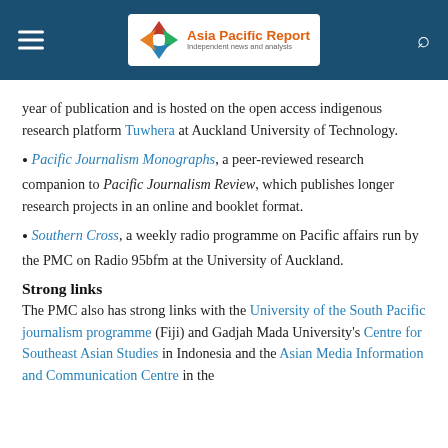Asia Pacific Report — Independent news and analysis
year of publication and is hosted on the open access indigenous research platform Tuwhera at Auckland University of Technology.
Pacific Journalism Monographs, a peer-reviewed research companion to Pacific Journalism Review, which publishes longer research projects in an online and booklet format.
Southern Cross, a weekly radio programme on Pacific affairs run by the PMC on Radio 95bfm at the University of Auckland.
Strong links
The PMC also has strong links with the University of the South Pacific journalism programme (Fiji) and Gadjah Mada University's Centre for Southeast Asian Studies in Indonesia and the Asian Media Information and Communication Centre in the